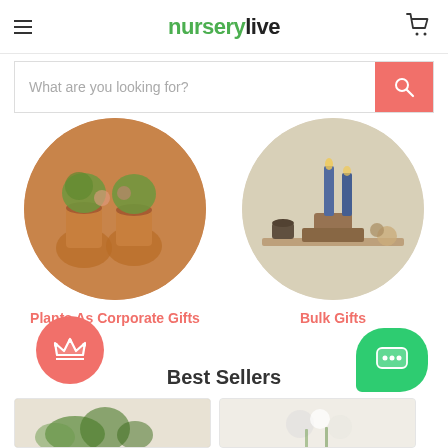nurserylive
What are you looking for?
[Figure (photo): Circular image of plants in orange pots as corporate gifts]
Plants As Corporate Gifts
[Figure (photo): Circular image of bulk gift items including candles and wooden items]
Bulk Gifts
Best Sellers
[Figure (photo): Product card showing green plants on beige background]
[Figure (photo): Product card showing white flowers on light background]